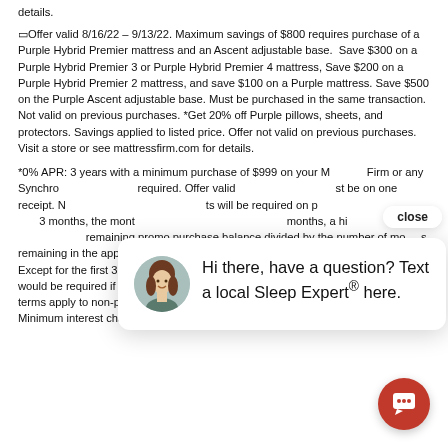details.
⬜Offer valid 8/16/22 – 9/13/22. Maximum savings of $800 requires purchase of a Purple Hybrid Premier mattress and an Ascent adjustable base. Save $300 on a Purple Hybrid Premier 3 or Purple Hybrid Premier 4 mattress, Save $200 on a Purple Hybrid Premier 2 mattress, and save $100 on a Purple mattress. Save $500 on the Purple Ascent adjustable base. Must be purchased in the same transaction. Not valid on previous purchases. *Get 20% off Purple pillows, sheets, and protectors. Savings applied to listed price. Offer not valid on previous purchases. Visit a store or see mattressfirm.com for details.
*0% APR: 3 years with a minimum purchase of $999 on your Mattress Firm or any Synchrony... required. Offer valid... must be on one receipt. N... ts will be required on p... 3 months, the month... months, a higher mo... remaining promo purchase balance divided by the number of months remaining in the applicable promo period, rounded up to the next whole dollar. Except for the first 3 months, these payments may be... an the payments that would be required if this purchase was a non-promo purchase. Regular account terms apply to non-promo purchases. For new accounts: Purchase APR is 29.99%. Minimum interest charge is $2.
[Figure (other): Chat popup with woman avatar and text: Hi there, have a question? Text a local Sleep Expert® here. Close button visible. Red chat button in bottom right.]